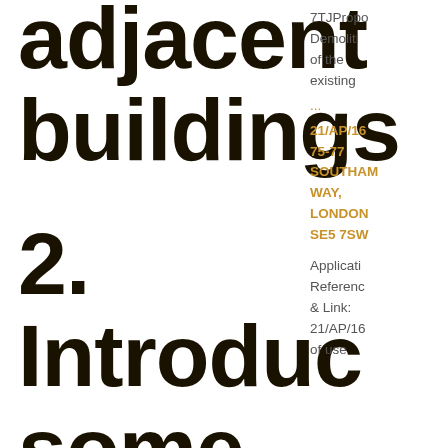adjacent buildings
2. Introduce some colour and
7TJPropo
Demoliti
of the
existing
...
21/AP/16
75-77
SOUTHAM
WAY,
LONDON
SE5 7SW
Applicati
Referenc
& Link:
21/AP/16
of use